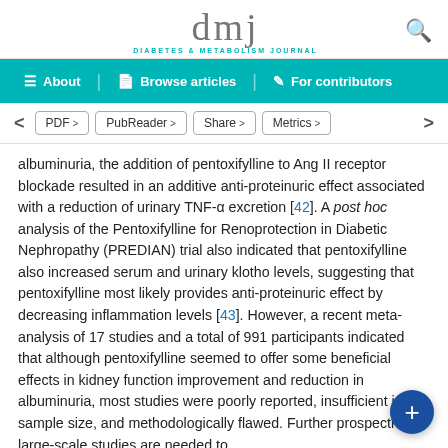dmj DIABETES & METABOLISM JOURNAL
About | Browse articles | For contributors
PDF > | PubReader > | Share > | Metrics >
albuminuria, the addition of pentoxifylline to Ang II receptor blockade resulted in an additive anti-proteinuric effect associated with a reduction of urinary TNF-α excretion [42]. A post hoc analysis of the Pentoxifylline for Renoprotection in Diabetic Nephropathy (PREDIAN) trial also indicated that pentoxifylline also increased serum and urinary klotho levels, suggesting that pentoxifylline most likely provides anti-proteinuric effect by decreasing inflammation levels [43]. However, a recent meta-analysis of 17 studies and a total of 991 participants indicated that although pentoxifylline seemed to offer some beneficial effects in kidney function improvement and reduction in albuminuria, most studies were poorly reported, insufficient in sample size, and methodologically flawed. Further prospective, large-scale studies are needed to